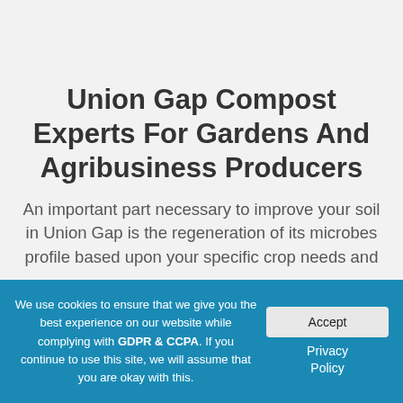Union Gap Compost Experts For Gardens And Agribusiness Producers
An important part necessary to improve your soil in Union Gap is the regeneration of its microbes profile based upon your specific crop needs and
We use cookies to ensure that we give you the best experience on our website while complying with GDPR & CCPA. If you continue to use this site, we will assume that you are okay with this.